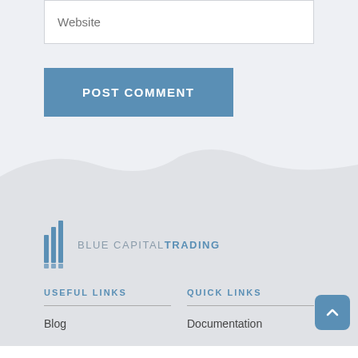Website
POST COMMENT
[Figure (logo): Blue Capital Trading logo with bar chart icon]
USEFUL LINKS
QUICK LINKS
Blog
Documentation